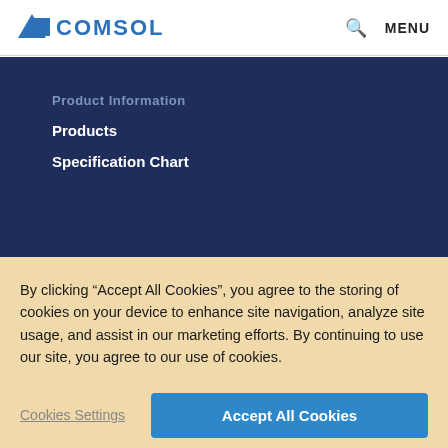COMSOL | MENU
Product Information
Products
Specification Chart
By clicking “Accept All Cookies”, you agree to the storing of cookies on your device to enhance site navigation, analyze site usage, and assist in our marketing efforts. By continuing to use our site, you agree to our use of cookies.
Cookies Settings | Accept All Cookies